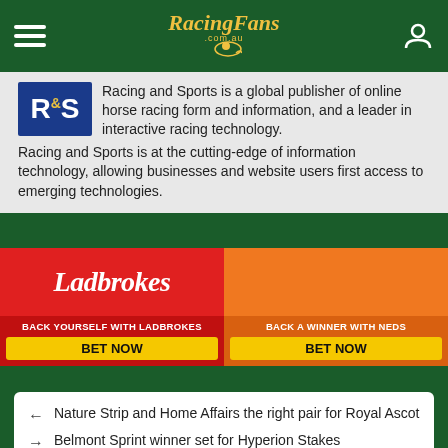RacingFans.com.au
Racing and Sports is a global publisher of online horse racing form and information, and a leader in interactive racing technology. Racing and Sports is at the cutting-edge of information technology, allowing businesses and website users first access to emerging technologies.
[Figure (advertisement): Ladbrokes betting banner: BACK YOURSELF WITH LADBROKES / BET NOW]
[Figure (advertisement): Neds betting banner: BACK A WINNER WITH NEDS / BET NOW]
← Nature Strip and Home Affairs the right pair for Royal Ascot
→ Belmont Sprint winner set for Hyperion Stakes